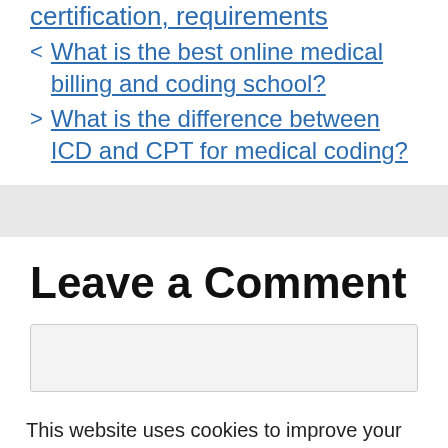certification, requirements
< What is the best online medical billing and coding school?
> What is the difference between ICD and CPT for medical coding?
Leave a Comment
This website uses cookies to improve your experience. We'll assume you're ok with this, but you can opt-out if